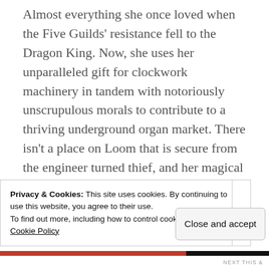Almost everything she once loved when the Five Guilds' resistance fell to the Dragon King. Now, she uses her unparalleled gift for clockwork machinery in tandem with notoriously unscrupulous morals to contribute to a thriving underground organ market. There isn't a place on Loom that is secure from the engineer turned thief, and her magical talents are sold to the highest bidder as long as the job defies their Dragon oppressors.
Cvareh would do anything to see his sister usurp the Dragon King and...
Privacy & Cookies: This site uses cookies. By continuing to use this website, you agree to their use.
To find out more, including how to control cookies, see here:
Cookie Policy
Close and accept